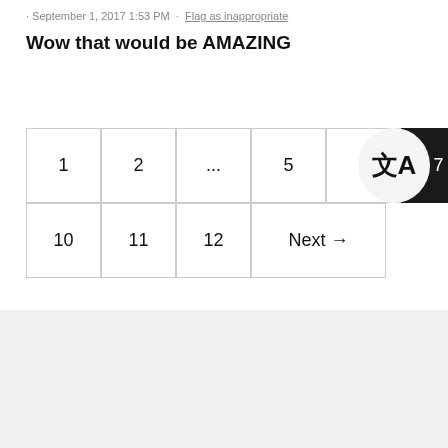· September 1, 2017 1:53 PM · Flag as inappropriate
Wow that would be AMAZING
1 2 ... 5 6 7 8 10 11 12 Next →
[Figure (logo): Twitch logo in light gray]
Twitch   Terms of Service